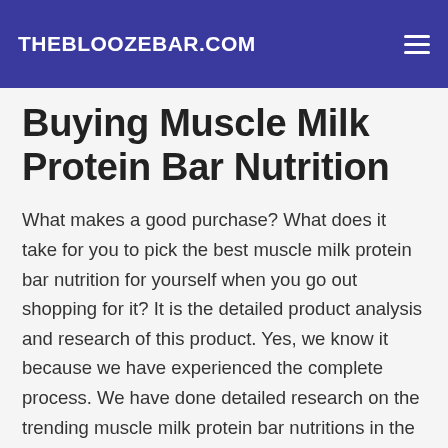THEBLOOZEBAR.COM
Buying Muscle Milk Protein Bar Nutrition
What makes a good purchase? What does it take for you to pick the best muscle milk protein bar nutrition for yourself when you go out shopping for it? It is the detailed product analysis and research of this product. Yes, we know it because we have experienced the complete process. We have done detailed research on the trending muscle milk protein bar nutritions in the market these days. You might be having various questions going on in your mind regarding this product; some of them being: